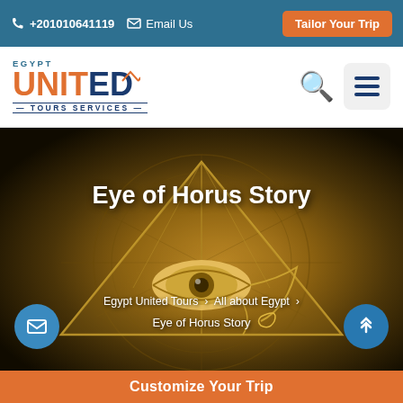+201010641119  Email Us  Tailor Your Trip
[Figure (logo): Egypt United Tours Services logo with orange UNITED text and dark blue accents]
[Figure (photo): Hero image of the Eye of Horus symbol inside a triangle/pyramid on a dark golden ancient Egyptian decorative background]
Eye of Horus Story
Egypt United Tours › All about Egypt › Eye of Horus Story
Customize Your Trip